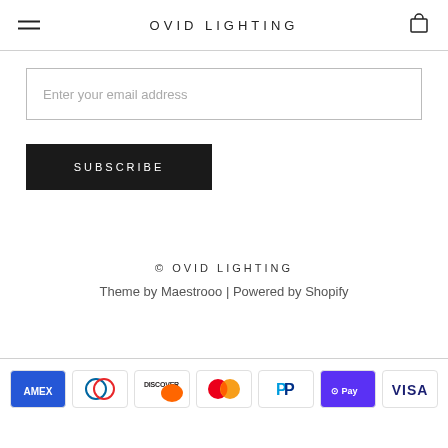OVID LIGHTING
Enter your email address
SUBSCRIBE
© OVID LIGHTING
Theme by Maestrooo | Powered by Shopify
[Figure (other): Payment method icons: American Express, Diners Club, Discover, Mastercard, PayPal, Shop Pay, Visa]